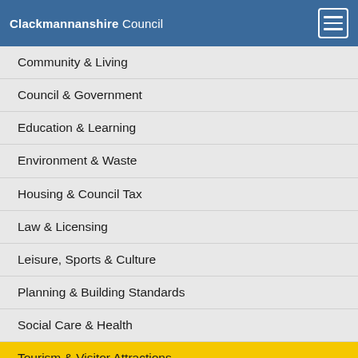Clackmannanshire Council
Community & Living
Council & Government
Education & Learning
Environment & Waste
Housing & Council Tax
Law & Licensing
Leisure, Sports & Culture
Planning & Building Standards
Social Care & Health
Tourism & Visitor Attractions
Transport & Streets